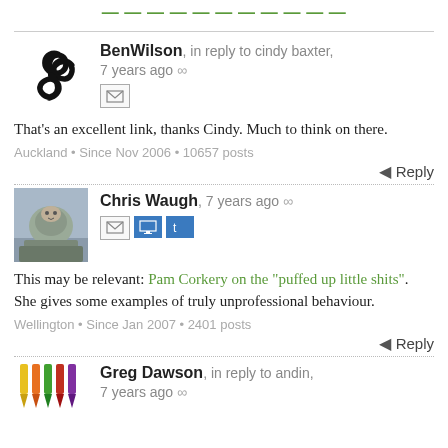— cut off at top —
BenWilson, in reply to cindy baxter, 7 years ago
That's an excellent link, thanks Cindy. Much to think on there.
Auckland • Since Nov 2006 • 10657 posts
Reply
Chris Waugh, 7 years ago
This may be relevant: Pam Corkery on the "puffed up little shits". She gives some examples of truly unprofessional behaviour.
Wellington • Since Jan 2007 • 2401 posts
Reply
Greg Dawson, in reply to andin, 7 years ago